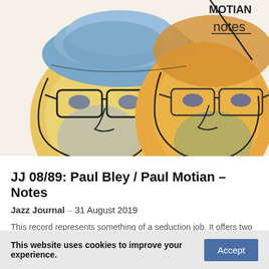[Figure (illustration): Watercolor illustration of two faces side by side – left figure wearing a blue hat and glasses, right figure with orange/yellow tones and glasses. Text 'notes' appears in upper right corner of the image.]
JJ 08/89: Paul Bley / Paul Motian – Notes
Jazz Journal - 31 August 2019
This record represents something of a seduction job. It offers two of the most melodic of players using their instruments to really 'take' the listener. All but two of the...
This website uses cookies to improve your experience.